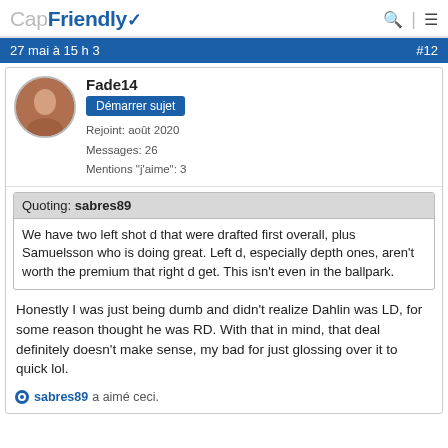CapFriendly
27 mai à 15 h 3  #12
Fade14
Démarrer sujet
Rejoint: août 2020
Messages: 26
Mentions "j'aime": 3
Quoting: sabres89
We have two left shot d that were drafted first overall, plus Samuelsson who is doing great. Left d, especially depth ones, aren't worth the premium that right d get. This isn't even in the ballpark.
Honestly I was just being dumb and didn't realize Dahlin was LD, for some reason thought he was RD. With that in mind, that deal definitely doesn't make sense, my bad for just glossing over it to quick lol.
sabres89 a aimé ceci.